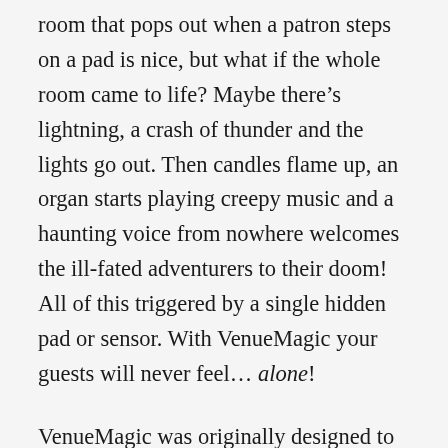room that pops out when a patron steps on a pad is nice, but what if the whole room came to life?  Maybe there's lightning, a crash of thunder and the lights go out. Then candles flame up, an organ starts playing creepy music and a haunting voice from nowhere welcomes the ill-fated adventurers to their doom!  All of this triggered by a single hidden pad or sensor.  With VenueMagic your guests will never feel... alone!
VenueMagic was originally designed to be